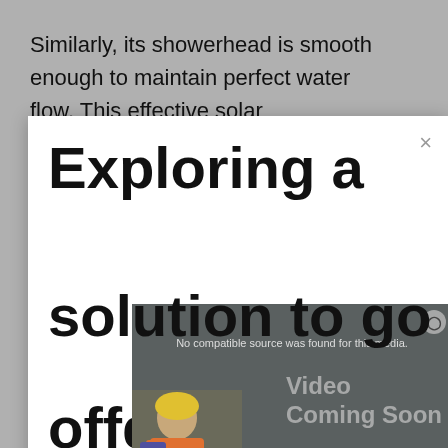Similarly, its showerhead is smooth enough to maintain perfect water flow. This effective solar
[Figure (screenshot): Web page screenshot showing a modal dialog overlay on a gray background. The modal contains large bold text reading 'Exploring a solution to go offgrid?' with a close (×) button. On top of the modal is a video player overlay showing 'No compatible source was found for this media.' error, with 'Video Coming Soon' text, an X dismiss button, and a person in construction gear. Below the video is an advertisement banner with blue background reading 'KNOW EVERY COST ON YOUR JOB, EVERY DAY' with a construction software logo and 'Learn More' button.]